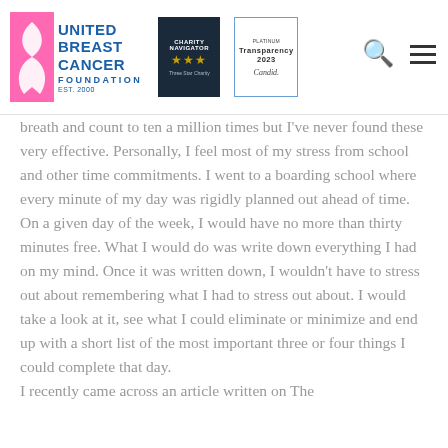United Breast Cancer Foundation — Est. 2000 [with Charity Navigator 3-star badge and Candid Platinum Transparency 2023 badge]
breath and count to ten a million times but I've never found these very effective. Personally, I feel most of my stress from school and other time commitments. I went to a boarding school where every minute of my day was rigidly planned out ahead of time. On a given day of the week, I would have no more than thirty minutes free. What I would do was write down everything I had on my mind. Once it was written down, I wouldn't have to stress out about remembering what I had to stress out about. I would take a look at it, see what I could eliminate or minimize and end up with a short list of the most important three or four things I could complete that day.
I recently came across an article written on The